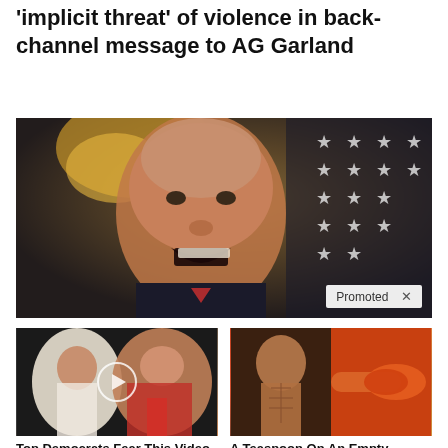'implicit threat' of violence in back-channel message to AG Garland
[Figure (photo): Photo of President Biden speaking with mouth open, gold chandelier and American flag in background. 'Promoted X' badge in bottom-right corner.]
[Figure (photo): Thumbnail showing Melania and Donald Trump with a video play button overlay.]
Top Democrats Fear This Video Getting Out — Watch Now Before It's Banned
249,177
[Figure (photo): Thumbnail showing a fit person's torso and a spoon with spice/powder.]
A Teaspoon On An Empty Stomach Burns Fat Like Crazy!
136,410